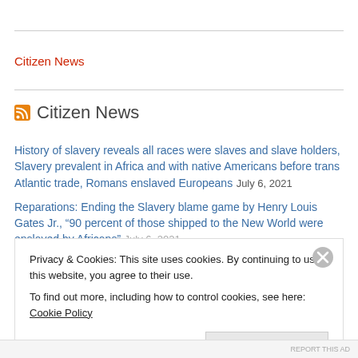Citizen News
Citizen News
History of slavery reveals all races were slaves and slave holders, Slavery prevalent in Africa and with native Americans before trans Atlantic trade, Romans enslaved Europeans July 6, 2021
Reparations: Ending the Slavery blame game by Henry Louis Gates Jr., “90 percent of those shipped to the New World were enslaved by Africans” July 6, 2021
Privacy & Cookies: This site uses cookies. By continuing to use this website, you agree to their use.
To find out more, including how to control cookies, see here: Cookie Policy
Close and accept